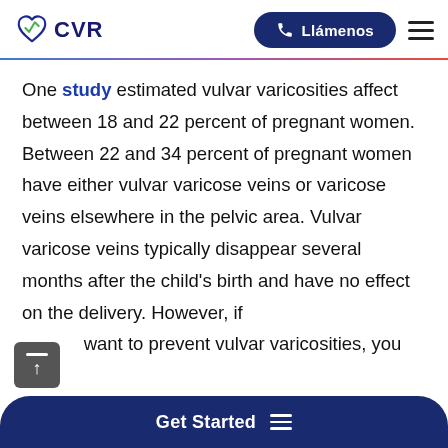CVR | Llámenos
One study estimated vulvar varicosities affect between 18 and 22 percent of pregnant women. Between 22 and 34 percent of pregnant women have either vulvar varicose veins or varicose veins elsewhere in the pelvic area. Vulvar varicose veins typically disappear several months after the child's birth and have no effect on the delivery. However, if want to prevent vulvar varicosities, you can